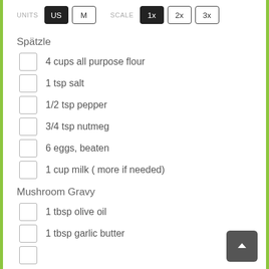UNITS: US | M   SCALE: 1x | 2x | 3x
Spätzle
4 cups all purpose flour
1 tsp salt
1/2 tsp pepper
3/4 tsp nutmeg
6 eggs, beaten
1 cup milk ( more if needed)
Mushroom Gravy
1 tbsp olive oil
1 tbsp garlic butter